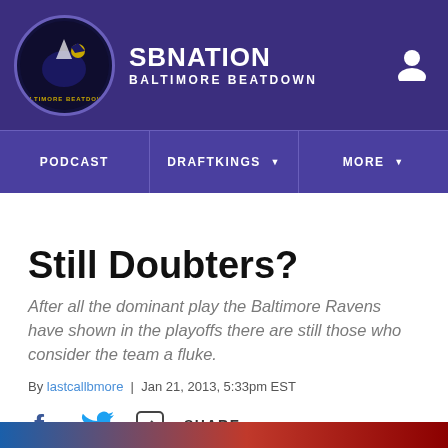SB NATION / BALTIMORE BEATDOWN
PODCAST | DRAFTKINGS | MORE
Still Doubters?
After all the dominant play the Baltimore Ravens have shown in the playoffs there are still those who consider the team a fluke.
By lastcallbmore | Jan 21, 2013, 5:33pm EST
SHARE